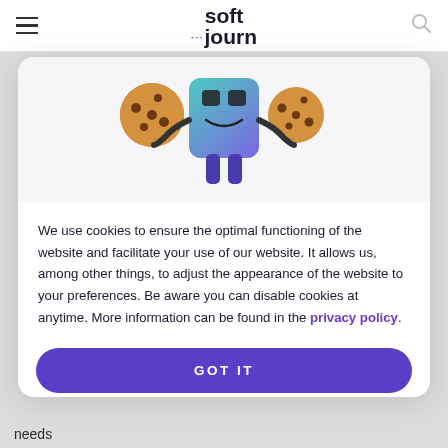soft journ
[Figure (illustration): A robot holding two cookies, one in each hand, with a smiling face. The robot is teal/purple colored.]
We use cookies to ensure the optimal functioning of the website and facilitate your use of our website. It allows us, among other things, to adjust the appearance of the website to your preferences. Be aware you can disable cookies at anytime. More information can be found in the privacy policy.
GOT IT
needs